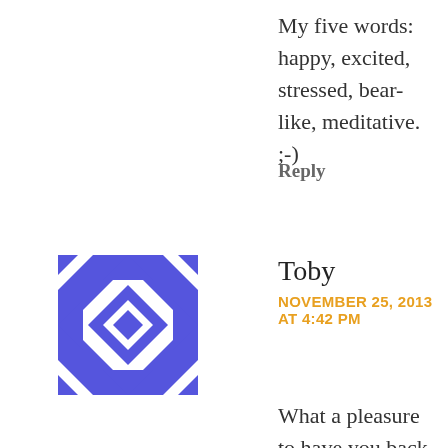My five words: happy, excited, stressed, bear-like, meditative. ;-)
Reply
[Figure (illustration): Blue and white geometric/quilt-pattern avatar icon with diamond and cross shapes]
Toby
NOVEMBER 25, 2013 AT 4:42 PM
What a pleasure to have you back in circulation! One more thing to be thankful for. Only 5 words?!? That's a challenge when one has so much to be thankful for. How about 5 sentences? 1. Marriage equality is at last law in NJ and 2 weeks after New Year's my wonderful husband of 18 years, Mike, and I will be making ourselves legal at